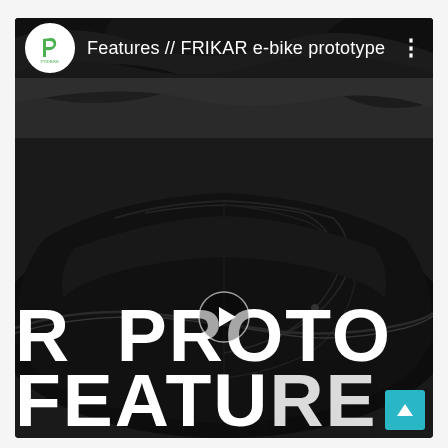[Figure (screenshot): Screenshot of a mobile video card showing a FRIKAR e-bike prototype video. The card has a dark header with a Podbike logo (green P icon on white circle), title 'Features // FRIKAR e-bike prototype', and a three-dot menu. The main image shows a close-up of a dark bike component (fairing/canopy) with partially visible large white text 'R PROTO' and 'FEATURE' overlaid on the image, and a white play button triangle in the center. A teal scroll-to-top button is visible in the bottom-right corner.]